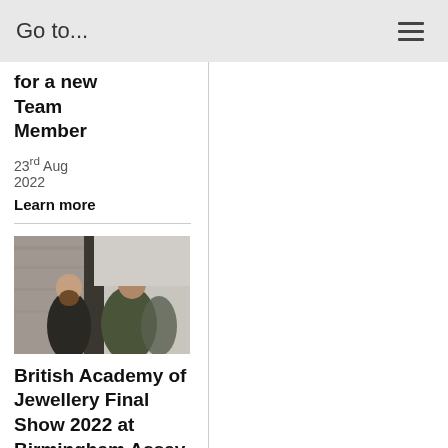Go to...
for a new Team Member
23rd Aug 2022
Learn more
[Figure (photo): Two people outdoors, one with a beard wearing a dark jacket, photographed in front of a stone wall]
British Academy of Jewellery Final Show 2022 at Birmingham Assay Office
5th Aug 2022
Learn more